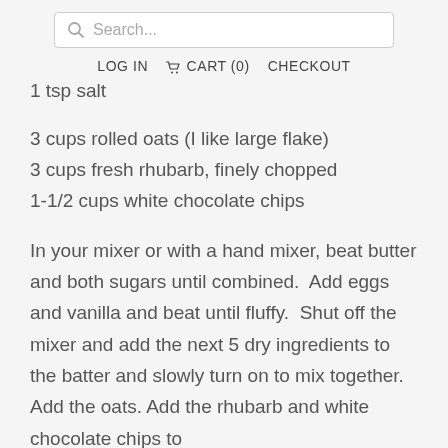Search...  LOG IN  CART (0)  CHECKOUT
1 tsp salt
3 cups rolled oats (I like large flake)
3 cups fresh rhubarb, finely chopped
1-1/2 cups white chocolate chips
In your mixer or with a hand mixer, beat butter and both sugars until combined.  Add eggs and vanilla and beat until fluffy.  Shut off the mixer and add the next 5 dry ingredients to the batter and slowly turn on to mix together.  Add the oats. Add the rhubarb and white chocolate chips to